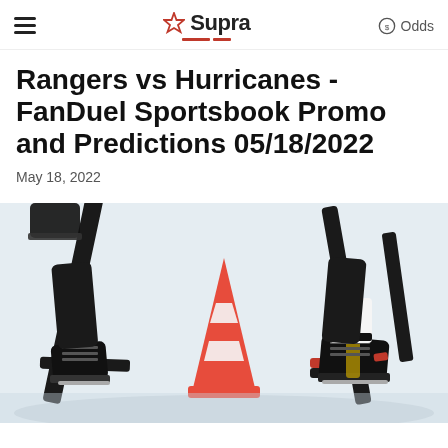Supra (logo with star) — Odds
Rangers vs Hurricanes - FanDuel Sportsbook Promo and Predictions 05/18/2022
May 18, 2022
[Figure (photo): Hockey sticks and ice skates near an orange traffic cone on an ice rink surface]